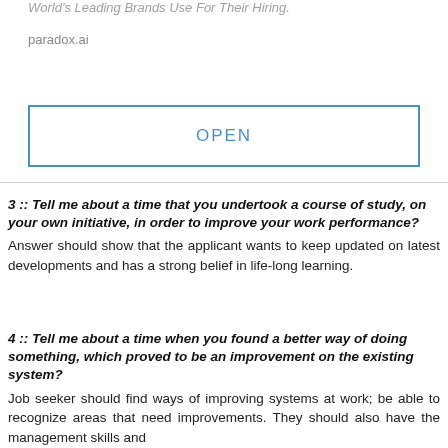World's Leading Brands Use For Their Hiring.
paradox.ai
OPEN
3 :: Tell me about a time that you undertook a course of study, on your own initiative, in order to improve your work performance?
Answer should show that the applicant wants to keep updated on latest developments and has a strong belief in life-long learning.
4 :: Tell me about a time when you found a better way of doing something, which proved to be an improvement on the existing system?
Job seeker should find ways of improving systems at work; be able to recognize areas that need improvements. They should also have the management skills and